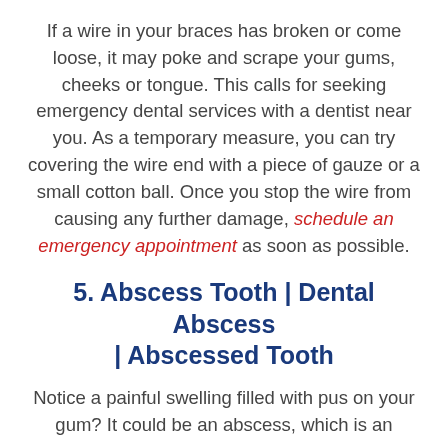If a wire in your braces has broken or come loose, it may poke and scrape your gums, cheeks or tongue. This calls for seeking emergency dental services with a dentist near you. As a temporary measure, you can try covering the wire end with a piece of gauze or a small cotton ball. Once you stop the wire from causing any further damage, schedule an emergency appointment as soon as possible.
5. Abscess Tooth | Dental Abscess | Abscessed Tooth
Notice a painful swelling filled with pus on your gum? It could be an abscess, which is an